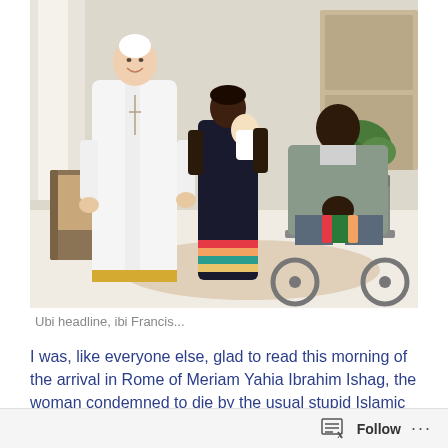[Figure (photo): A photograph showing Pope Francis in white papal robes standing with a family: a woman in a colorful dress holding a baby, and a man seated in a wheelchair holding a toddler. They appear to be inside a formal room.]
Ubi headline, ibi Francis...
I was, like everyone else, glad to read this morning of the arrival in Rome of Meriam Yahia Ibrahim Ishag, the woman condemned to die by the usual stupid Islamic tribunal after having apostatised and converted to Christianity.
Follow ···